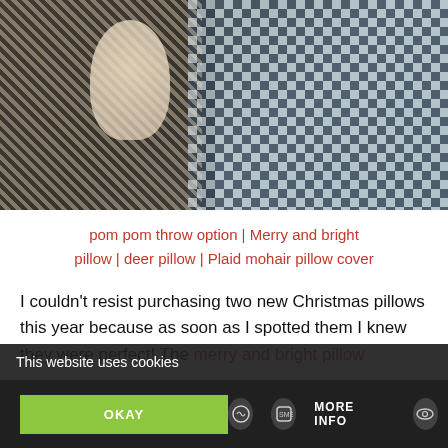[Figure (photo): A living room scene with a decorative pom pom throw blanket on the left featuring dark floral/damask pattern with cream pom pom tassels, and a houndstooth patterned rug on the right with a glass coffee table in the background.]
pom pom throw option | Merry and bright pillow | deer pillow | Plaid mohair pillow cover
I couldn’t resist purchasing two new Christmas pillows this year because as soon as I spotted them I knew they were perfect!  The merry and bright pillow ... are the two new ones, and
This website uses cookies
OKAY
MORE INFO